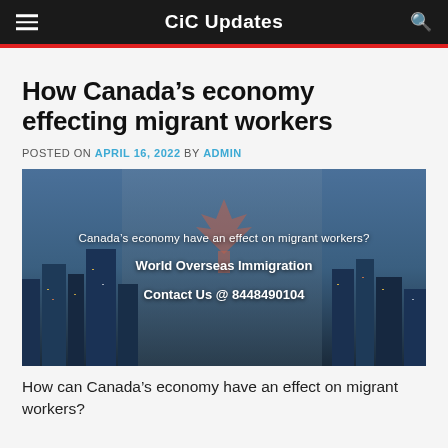CiC Updates
How Canada’s economy effecting migrant workers
POSTED ON APRIL 16, 2022 BY ADMIN
[Figure (photo): City skyline photo (appears to be Toronto/Canadian city at dusk/night) with Canadian flag maple leaf overlay and text: Canada’s economy have an effect on migrant workers? / World Overseas Immigration / Contact Us @ 8448490104]
How can Canada’s economy have an effect on migrant workers?